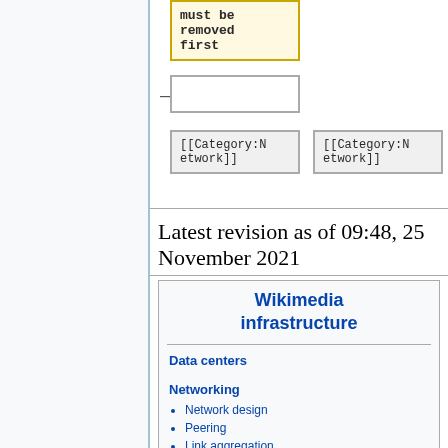[Figure (flowchart): Flowchart diagram showing a yellow highlighted code box with text 'must be removed first', connected to an empty box below, with two category boxes labeled '[[Category:Network]]' side by side below]
Latest revision as of 09:48, 25 November 2021
Wikimedia infrastructure
Data centers
Networking
Network design
Peering
Link aggregation